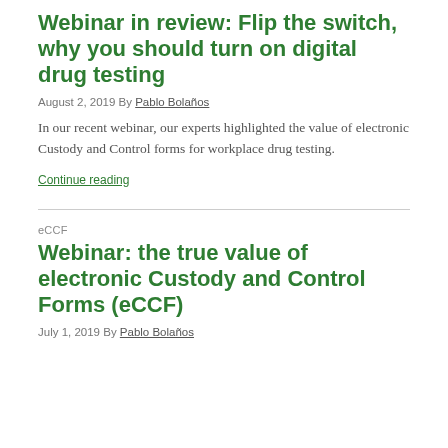Webinar in review: Flip the switch, why you should turn on digital drug testing
August 2, 2019 By Pablo Bolaños
In our recent webinar, our experts highlighted the value of electronic Custody and Control forms for workplace drug testing.
Continue reading
eCCF
Webinar: the true value of electronic Custody and Control Forms (eCCF)
July 1, 2019 By Pablo Bolaños